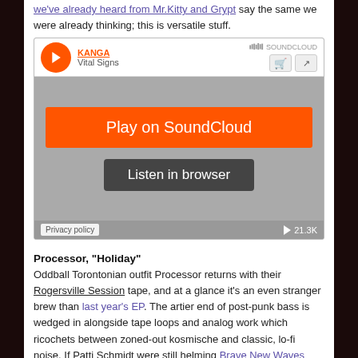we've already heard from Mr.Kitty and Grypt say the same we were already thinking; this is versatile stuff.
[Figure (screenshot): SoundCloud embedded player widget for KANGA - Vital Signs, showing Play on SoundCloud button and Listen in browser button, with 21.3K plays]
Processor, “Holiday”
Oddball Torontonian outfit Processor returns with their Rogersville Session tape, and at a glance it’s an even stranger brew than last year’s EP. The artier end of post-punk bass is wedged in alongside tape loops and analog work which ricochets between zoned-out kosmische and classic, lo-fi noise. If Patti Schmidt were still helming Brave New Waves she’d be cranking this out to thousands of insomniac